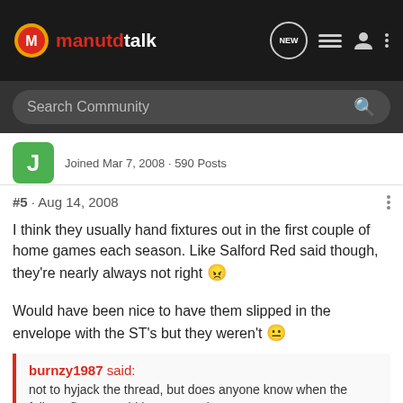manutdtalk
Search Community
Joined Mar 7, 2008 · 590 Posts
#5 · Aug 14, 2008
I think they usually hand fixtures out in the first couple of home games each season. Like Salford Red said though, they're nearly always not right 😠
Would have been nice to have them slipped in the envelope with the ST's but they weren't 😐
burnzy1987 said:
not to hyjack the thread, but does anyone know when the fulham fixture could be arranged to??